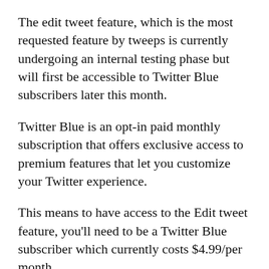The edit tweet feature, which is the most requested feature by tweeps is currently undergoing an internal testing phase but will first be accessible to Twitter Blue subscribers later this month.
Twitter Blue is an opt-in paid monthly subscription that offers exclusive access to premium features that let you customize your Twitter experience.
This means to have access to the Edit tweet feature, you'll need to be a Twitter Blue subscriber which currently costs $4.99/per month.
The Edit tweet feature allows tweeps to fix text and add tags to a tweet within thirty minutes after tweeting. An edited tweet will have an icon and time stamp indicating the changes done to the tweet, and tweeps can click on the label to view the pre-edited and original version of the tweet.